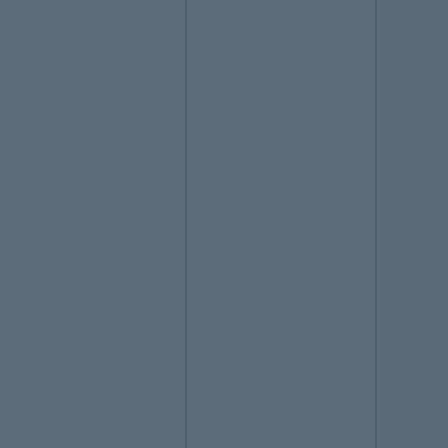Test materials
Specific details on the test material used for the study
Test animals
Species
Strain
Sex
Details on test animal housing system and environmental conditions